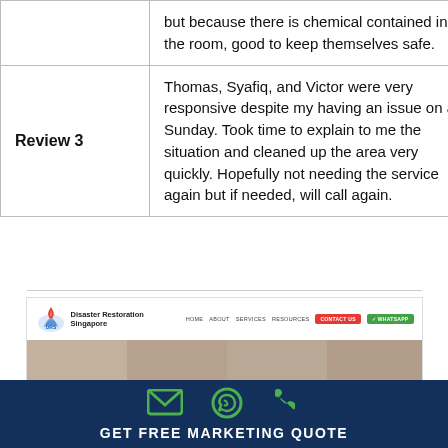|  | Review |
| --- | --- |
|  | but because there is chemical contained in the room, good to keep themselves safe. |
| Review 3 | Thomas, Syafiq, and Victor were very responsive despite my having an issue on a Sunday. Took time to explain to me the situation and cleaned up the area very quickly. Hopefully not needing the service again but if needed, will call again. |
[Figure (screenshot): Website screenshot of Disaster Restoration Singapore showing navigation bar with HOME, ABOUT, SERVICES, RESOURCES, CONTACT US (red), WHATSAPP (green) buttons, and a hero image below.]
[Figure (infographic): Dark navy blue CTA banner with green email, WhatsApp, and phone icons, and text 'GET FREE MARKETING QUOTE' in white bold uppercase letters.]